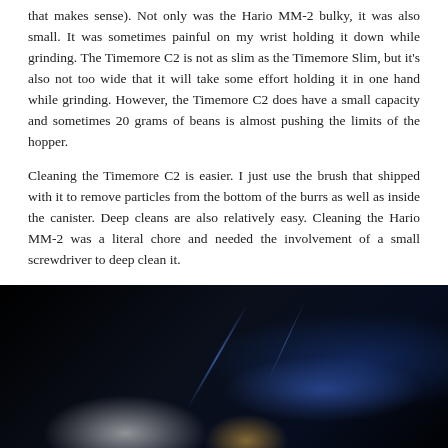that makes sense). Not only was the Hario MM-2 bulky, it was also small. It was sometimes painful on my wrist holding it down while grinding. The Timemore C2 is not as slim as the Timemore Slim, but it's also not too wide that it will take some effort holding it in one hand while grinding. However, the Timemore C2 does have a small capacity and sometimes 20 grams of beans is almost pushing the limits of the hopper.
Cleaning the Timemore C2 is easier. I just use the brush that shipped with it to remove particles from the bottom of the burrs as well as inside the canister. Deep cleans are also relatively easy. Cleaning the Hario MM-2 was a literal chore and needed the involvement of a small screwdriver to deep clean it.
[Figure (photo): Dark, moody photograph showing what appears to be a coffee grinder or related equipment against a very dark background, with subtle blue light reflections and a warm amber/gold highlight in the lower center area.]